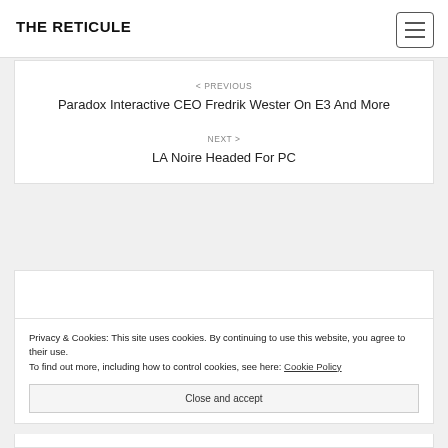THE RETICULE
< PREVIOUS
Paradox Interactive CEO Fredrik Wester On E3 And More
NEXT >
LA Noire Headed For PC
Leave a Reply
Privacy & Cookies: This site uses cookies. By continuing to use this website, you agree to their use.
To find out more, including how to control cookies, see here: Cookie Policy
Close and accept